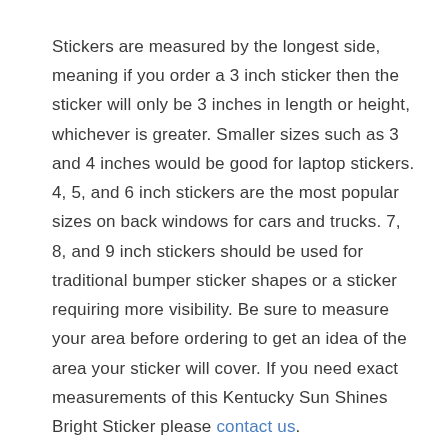Stickers are measured by the longest side, meaning if you order a 3 inch sticker then the sticker will only be 3 inches in length or height, whichever is greater. Smaller sizes such as 3 and 4 inches would be good for laptop stickers. 4, 5, and 6 inch stickers are the most popular sizes on back windows for cars and trucks. 7, 8, and 9 inch stickers should be used for traditional bumper sticker shapes or a sticker requiring more visibility. Be sure to measure your area before ordering to get an idea of the area your sticker will cover. If you need exact measurements of this Kentucky Sun Shines Bright Sticker please contact us.